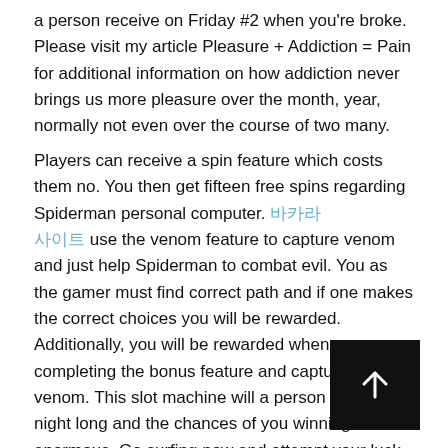a person receive on Friday #2 when you're broke. Please visit my article Pleasure + Addiction = Pain for additional information on how addiction never brings us more pleasure over the month, year, normally not even over the course of two many.
Players can receive a spin feature which costs them no. You then get fifteen free spins regarding Spiderman personal computer. 바카라사이트 use the venom feature to capture venom and just help Spiderman to combat evil. You as the gamer must find correct path and if one makes the correct choices you will be rewarded. Additionally, you will be rewarded when completing the bonus feature and capturing the venom. This slot machine will a person busy all night long and the chances of you winning are enormous. Go surfing now and attempt your luck with the Spiderman video slot machine.